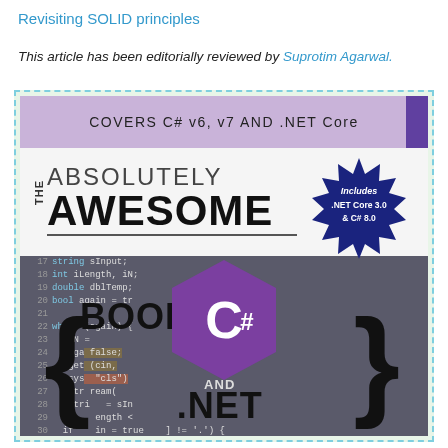Revisiting SOLID principles
This article has been editorially reviewed by Suprotim Agarwal.
[Figure (illustration): Book cover for 'The Absolutely Awesome Book on C# and .NET'. Purple top banner reads 'COVERS C# v6, v7 AND .NET Core'. Large title text 'THE ABSOLUTELY AWESOME' with 'BOOK ON' below it. A starburst badge says 'Includes .NET Core 3.0 & C# 8.0'. A C# hexagon logo is centered. Curly braces surround the C# logo. Code editor background shows C++ code lines with line numbers 17–32. 'AND .NET' text appears at the bottom.]